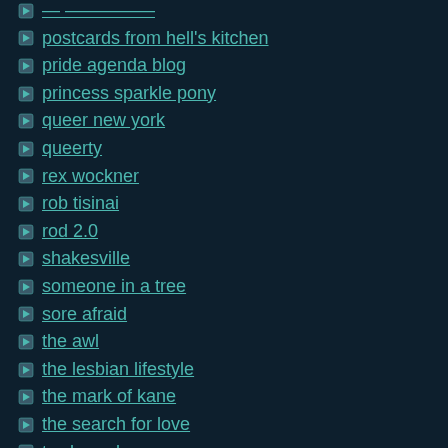postcards from hell's kitchen
pride agenda blog
princess sparkle pony
queer new york
queerty
rex wockner
rob tisinai
rod 2.0
shakesville
someone in a tree
sore afraid
the awl
the lesbian lifestyle
the mark of kane
the search for love
towleroad
troubled diva
wayne besen